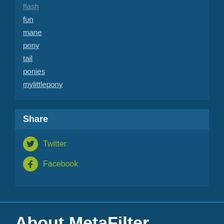flash
fun
mane
pony
tail
ponies
mylittlepony
Share
Twitter
Facebook
About MetaFilter
MetaFilter is a weblog that anyone can contribute a link or a comment to. A typical weblog is one person posting their thoughts on the unique things they find on the web. This